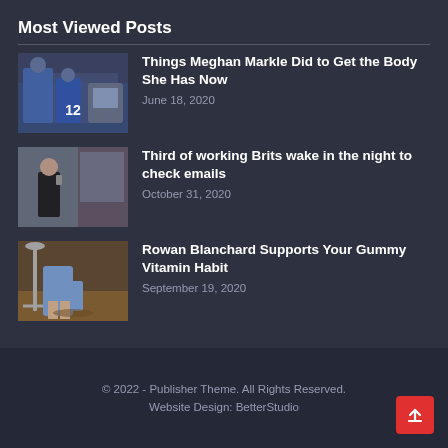Most Viewed Posts
Things Meghan Markle Did to Get the Body She Has Now
June 18, 2020
Third of working Brits wake in the night to check emails
October 31, 2020
Rowan Blanchard Supports Your Gummy Vitamin Habit
September 19, 2020
© 2022 - Publisher Theme. All Rights Reserved.
Website Design: BetterStudio